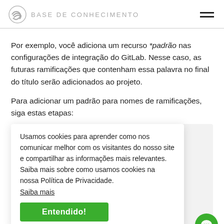BASE DE CONHECIMENTO
Por exemplo, você adiciona um recurso *padrão nas configurações de integração do GitLab. Nesse caso, as futuras ramificações que contenham essa palavra no final do título serão adicionados ao projeto.
Para adicionar um padrão para nomes de ramificações, siga estas etapas:
Usamos cookies para aprender como nos comunicar melhor com os visitantes do nosso site e compartilhar as informações mais relevantes. Saiba mais sobre como usamos cookies na nossa Política de Privacidade.
Saiba mais
4. Clique em Salvar.